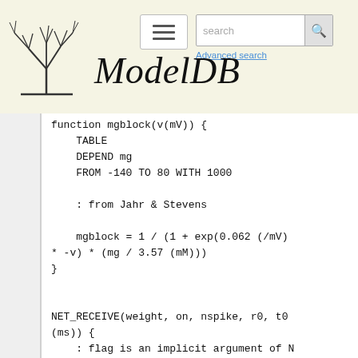[Figure (logo): ModelDB website header with logo (tree/neuron diagram), hamburger menu, search bar, and ModelDB italic title text]
function mgblock(v(mV)) {
    TABLE
    DEPEND mg
    FROM -140 TO 80 WITH 1000

    : from Jahr & Stevens

    mgblock = 1 / (1 + exp(0.062 (/mV)
* -v) * (mg / 3.57 (mM)))
}


NET_RECEIVE(weight, on, nspike, r0, t0
(ms)) {
    : flag is an implicit argument of N
ET_RECEIVE and  normally 0
        if (flag == 0) { : a spike, so
turn on if not already in a Cdur pulse
        nspike = nspike + 1
        if (!on) {
            r0 = r0*exp(-Rota*(t - t0))